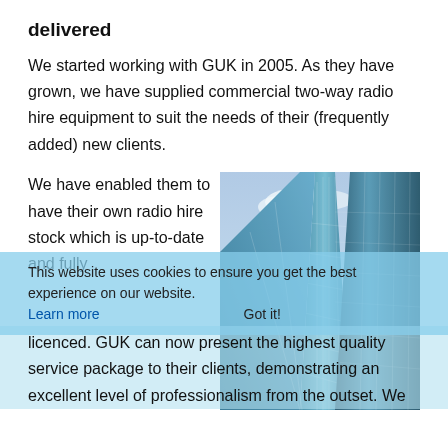delivered
We started working with GUK in 2005. As they have grown, we have supplied commercial two-way radio hire equipment to suit the needs of their (frequently added) new clients.
[Figure (photo): Upward view of modern glass skyscraper buildings against a blue sky]
We have enabled them to have their own radio hire stock which is up-to-date and fully licenced. GUK can now present the highest quality service package to their clients, demonstrating an excellent level of professionalism from the outset. We